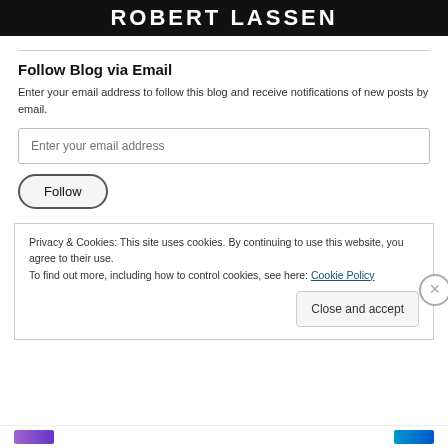ROBERT LASSEN
Follow Blog via Email
Enter your email address to follow this blog and receive notifications of new posts by email.
Enter your email address [input field]
Follow [button]
Privacy & Cookies: This site uses cookies. By continuing to use this website, you agree to their use.
To find out more, including how to control cookies, see here: Cookie Policy
Close and accept